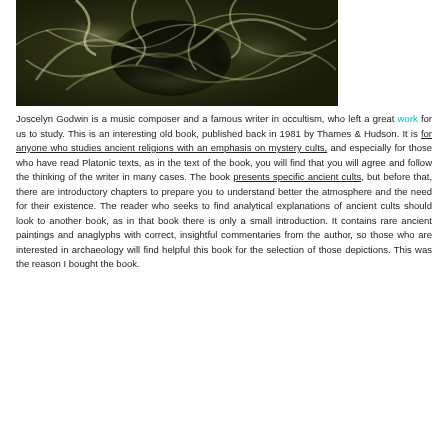[Figure (photo): Dark greenish-toned photograph showing swirling smoke or ethereal forms against a dark background, possibly depicting mystical or ancient imagery.]
Joscelyn Godwin is a music composer and a famous writer in occultism, who left a great work for us to study. This is an interesting old book, published back in 1981 by Thames & Hudson. It is for anyone who studies ancient religions with an emphasis on mystery cults, and especially for those who have read Platonic texts, as in the text of the book, you will find that you will agree and follow the thinking of the writer in many cases. The book presents specific ancient cults, but before that, there are introductory chapters to prepare you to understand better the atmosphere and the need for their existence. The reader who seeks to find analytical explanations of ancient cults should look to another book, as in that book there is only a small introduction. It contains rare ancient paintings and anaglyphs with correct, insightful commentaries from the author, so those who are interested in archaeology will find helpful this book for the selection of those depictions. This was the reason I bought the book.